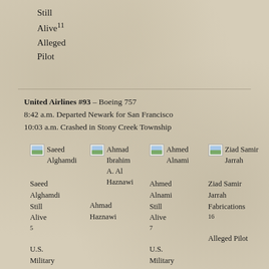Still
Alive¹¹
Alleged
Pilot
United Airlines #93 – Boeing 757
8:42 a.m. Departed Newark for San Francisco
10:03 a.m. Crashed in Stony Creek Township
Saeed Alghamdi
Saeed Alghamdi
Still Alive⁵
U.S. Military¹
Ahmad Ibrahim A. Al Haznawi
Ahmad Haznawi
Ahmed Alnami
Ahmed Alnami
Still Alive⁷
U.S. Military¹
Ziad Samir Jarrah
Ziad Samir Jarrah
Fabrications¹⁶
Alleged Pilot